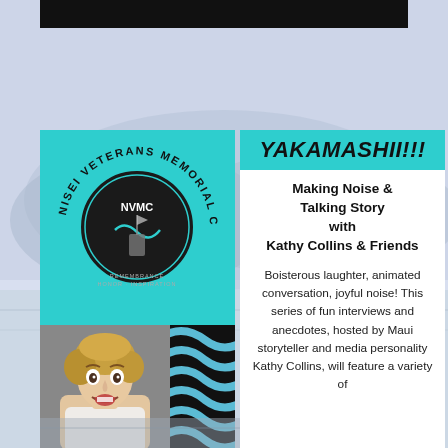[Figure (logo): Nisei Veterans Memorial Center circular logo with text around the border reading NISEI VETERANS MEMORIAL CENTER and inner circle with NVMC emblem and words REMEMBRANCE, HONOR, INSPIRATION]
[Figure (photo): Photo of Kathy Collins, a woman with short blonde hair making a surprised/excited expression, wearing a white top]
[Figure (illustration): Black and blue wavy stripe pattern panel]
YAKAMASHII!!!
Making Noise & Talking Story with Kathy Collins & Friends
Boisterous laughter, animated conversation, joyful noise! This series of fun interviews and anecdotes, hosted by Maui storyteller and media personality Kathy Collins, will feature a variety of